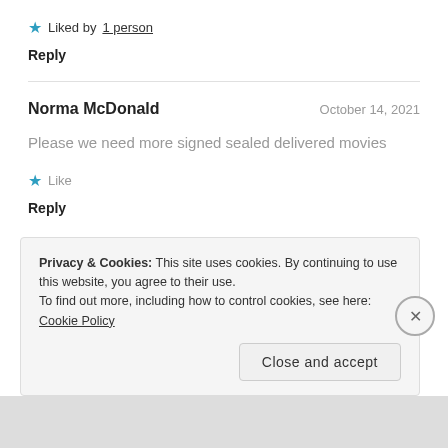★ Liked by 1 person
Reply
Norma McDonald — October 14, 2021
Please we need more signed sealed delivered movies
★ Like
Reply
Privacy & Cookies: This site uses cookies. By continuing to use this website, you agree to their use.
To find out more, including how to control cookies, see here: Cookie Policy
Close and accept